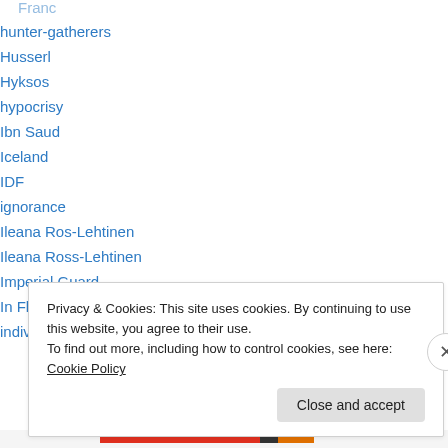hunter-gatherers
Husserl
Hyksos
hypocrisy
Ibn Saud
Iceland
IDF
ignorance
Ileana Ros-Lehtinen
Ileana Ross-Lehtinen
Imperial Guard
In Flanders Fields
individual
Privacy & Cookies: This site uses cookies. By continuing to use this website, you agree to their use.
To find out more, including how to control cookies, see here: Cookie Policy
Close and accept